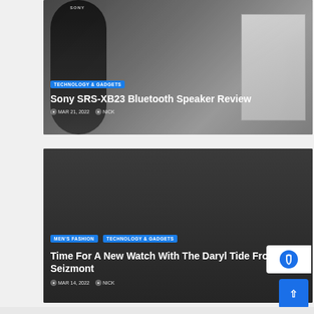[Figure (photo): Sony SRS-XB23 Bluetooth speaker (black cylindrical) next to its product box on a wooden surface]
TECHNOLOGY & GADGETS
Sony SRS-XB23 Bluetooth Speaker Review
MAR 21, 2022   NICK
[Figure (photo): Dark background card for watch article]
MEN'S FASHION   TECHNOLOGY & GADGETS
Time For A New Watch With The Daryl Tide From Seizmont
MAR 14, 2022   NICK